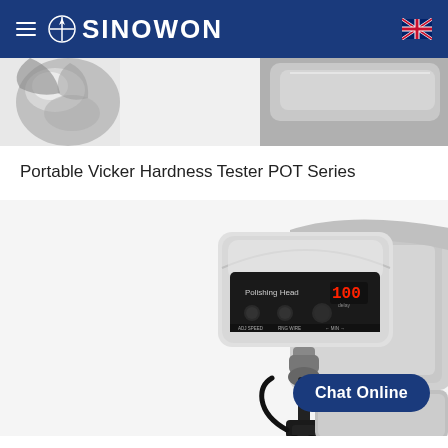SINOWON
[Figure (photo): Top image strip showing partial view of a hardness tester machine component, gray metallic surface]
Portable Vicker Hardness Tester POT Series
[Figure (photo): Portable Vicker Hardness Tester POT Series device showing polishing head unit with digital display reading 100, mounted on a stand with black probe attachment]
Chat Online